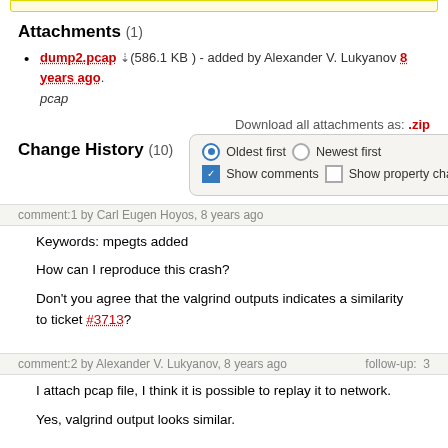Attachments (1)
dump2.pcap ↓ (586.1 KB ) - added by Alexander V. Lukyanov 8 years ago.
pcap
Download all attachments as: .zip
Change History (10)
Oldest first  Newest first  Show comments  Show property changes
comment:1 by Carl Eugen Hoyos, 8 years ago
Keywords: mpegts added

How can I reproduce this crash?

Don't you agree that the valgrind outputs indicates a similarity to ticket #3713?
comment:2 by Alexander V. Lukyanov, 8 years ago   follow-up: 3
I attach pcap file, I think it is possible to replay it to network.

Yes, valgrind output looks similar.
by Alexander V. Lukyanov, 8 years ago
Attachment: dump2.pcap ↓ added